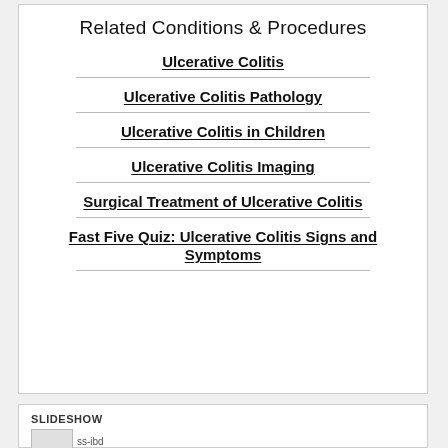Related Conditions & Procedures
Ulcerative Colitis
Ulcerative Colitis Pathology
Ulcerative Colitis in Children
Ulcerative Colitis Imaging
Surgical Treatment of Ulcerative Colitis
Fast Five Quiz: Ulcerative Colitis Signs and Symptoms
SLIDESHOW
[Figure (photo): ss-ibd thumbnail image placeholder]